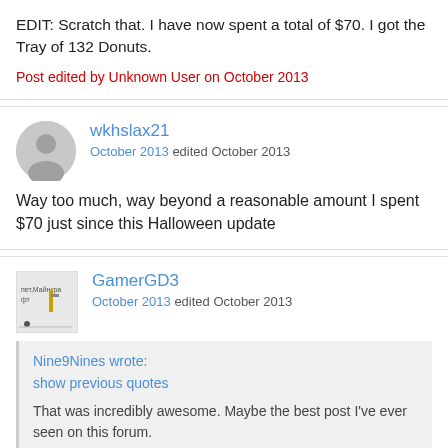EDIT: Scratch that. I have now spent a total of $70. I got the Tray of 132 Donuts.
Post edited by Unknown User on October 2013
wkhslax21
October 2013 edited October 2013
Way too much, way beyond a reasonable amount I spent $70 just since this Halloween update
GamerGD3
October 2013 edited October 2013
Nine9Nines wrote:
show previous quotes

That was incredibly awesome. Maybe the best post I've ever seen on this forum.